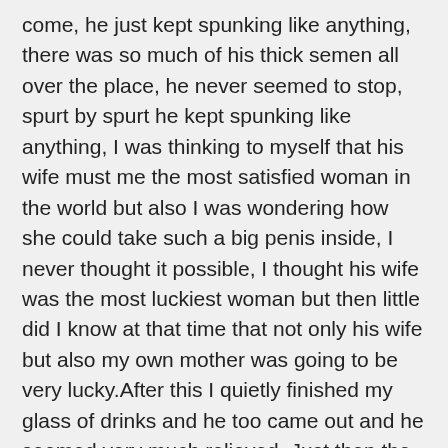come, he just kept spunking like anything, there was so much of his thick semen all over the place, he never seemed to stop, spurt by spurt he kept spunking like anything, I was thinking to myself that his wife must me the most satisfied woman in the world but also I was wondering how she could take such a big penis inside, I never thought it possible, I thought his wife was the most luckiest woman but then little did I know at that time that not only his wife but also my own mother was going to be very lucky.After this I quietly finished my glass of drinks and he too came out and he seemed very much relieved. Just then the bell rang and it was my mom asking me to come home. I went home and as I went, I saw him stare at moms whole body like a hungry wolf. At home I had dinner and went to sleep. We have got two bedrooms in a flat and mom and me sleep in different rooms, at night somewhere around 1 o clock we started getting blank calls and mom picked up